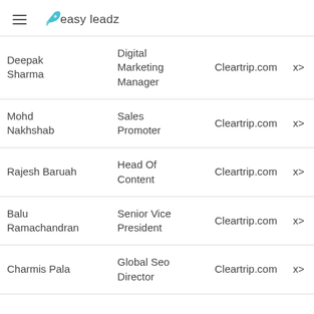easy leadz
| Name | Title | Company |  |
| --- | --- | --- | --- |
| Deepak Sharma | Digital Marketing Manager | Cleartrip.com | x> |
| Mohd Nakhshab | Sales Promoter | Cleartrip.com | x> |
| Rajesh Baruah | Head Of Content | Cleartrip.com | x> |
| Balu Ramachandran | Senior Vice President | Cleartrip.com | x> |
| Charmis Pala | Global Seo Director | Cleartrip.com | x> |